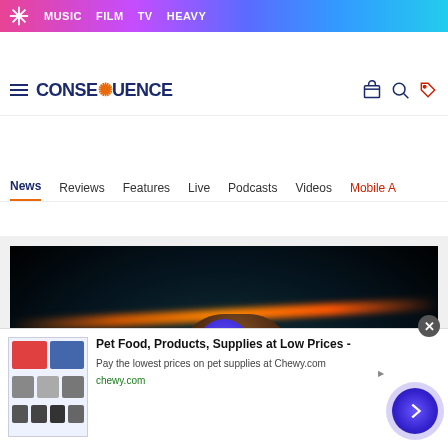MUSIC  FILM  TV  HEAVY
[Figure (screenshot): Consequence of Sound website header with logo, hamburger menu, search and shop icons]
News  Reviews  Features  Live  Podcasts  Videos  Mobile A
[Figure (photo): Music video still from Vevo showing a performer with neon orange lights against a dark background, with a blue/purple play button overlay]
Pet Food, Products, Supplies at Low Prices - Pay the lowest prices on pet supplies at Chewy.com chewy.com